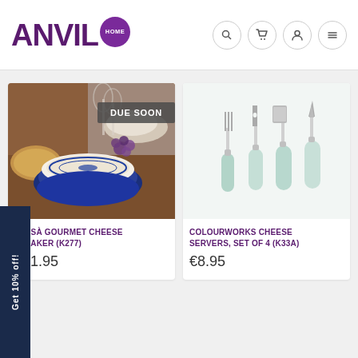ANVIL HOME
[Figure (photo): Photo of a brie cheese baker dish with bread, grapes, and wine glasses in the background. A 'DUE SOON' badge is shown in the top right of the image.]
...RTESÀ GOURMET CHEESE ...IE BAKER (K277)
€21.95
[Figure (photo): Photo of a set of 4 mint green handled cheese servers/knives arranged on a white background.]
COLOURWORKS CHEESE SERVERS, SET OF 4 (K33A)
€8.95
Get 10% off!